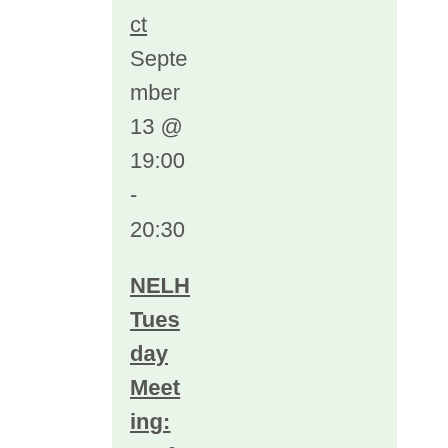ct
September 13 @ 19:00 - 20:30
NELH Tuesday Meeting: Professor Donna Cha